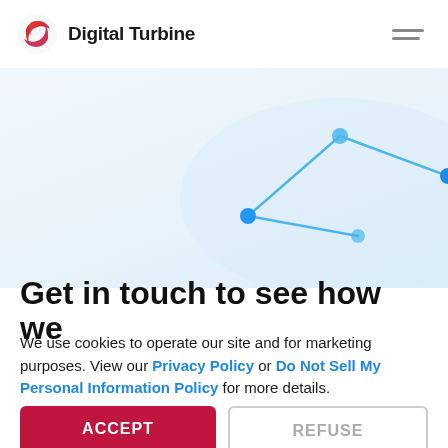Digital Turbine
[Figure (illustration): Abstract network/connection graphic with blue lines and dots on light blue background, partially visible in top-right area]
Get in touch to see how we
We use cookies to operate our site and for marketing purposes. View our Privacy Policy or Do Not Sell My Personal Information Policy for more details.
ACCEPT  REFUSE